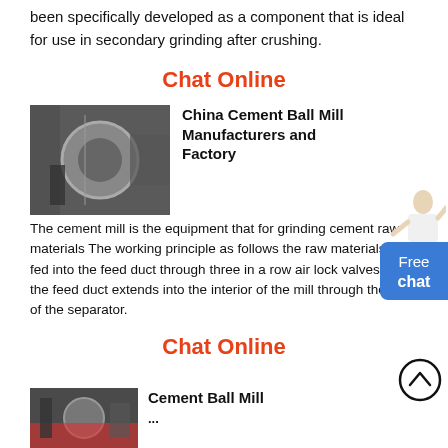been specifically developed as a component that is ideal for use in secondary grinding after crushing.
Chat Online
[Figure (photo): Industrial cement ball mill machinery photo]
China Cement Ball Mill Manufacturers and Factory
The cement mill is the equipment that for grinding cement raw materials The working principle as follows the raw materials is fed into the feed duct through three in a row air lock valves and the feed duct extends into the interior of the mill through the side of the separator.
Chat Online
[Figure (photo): Chat support person illustration]
[Figure (other): Free chat button]
[Figure (other): Scroll to top button]
[Figure (photo): Cement ball mill machinery photo]
Cement Ball Mill